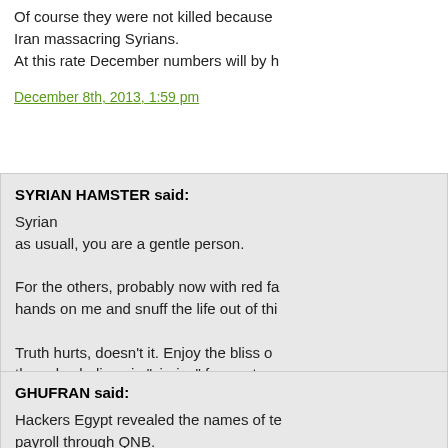Of course they were not killed because Iran massacring Syrians.
At this rate December numbers will by h
December 8th, 2013, 1:59 pm
SYRIAN HAMSTER said:
Syrian
as usuall, you are a gentle person.

For the others, probably now with red fa hands on me and snuff the life out of thi

Truth hurts, doesn't it. Enjoy the bliss o they also believe in "virgins" for martyrs brethren in alqaida, have their own 70 v Embarrassing, isn't it, how dumb to try t is more civilized than another. It doesn't or aisha, the funny myth is the same. yo true sectarians.
December 8th, 2013, 2:02 pm
GHUFRAN said:
Hackers Egypt revealed the names of te payroll through QNB.
The list has well known names like:
AB Sida, Louai Safi, M.Farouq Tayfour,
Anas Al-Abdeh and Khaled Al-Naser.